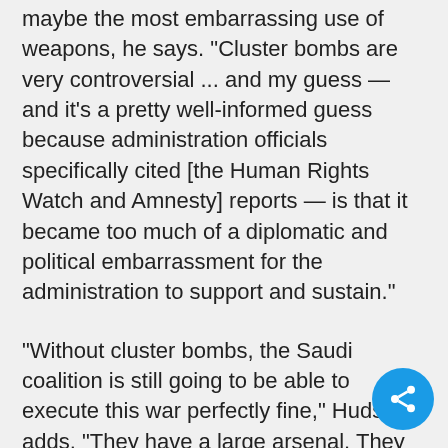maybe the most embarrassing use of weapons, he says. "Cluster bombs are very controversial ... and my guess — and it's a pretty well-informed guess because administration officials specifically cited [the Human Rights Watch and Amnesty] reports — is that it became too much of a diplomatic and political embarrassment for the administration to support and sustain."
"Without cluster bombs, the Saudi coalition is still going to be able to execute this war perfectly fine," Hudson adds. "They have a large arsenal. They have a number of weapons at their disposal."
And just last week, following the White House block on deliveries of Textron's cluster bomb, Department of Defense awarded another US